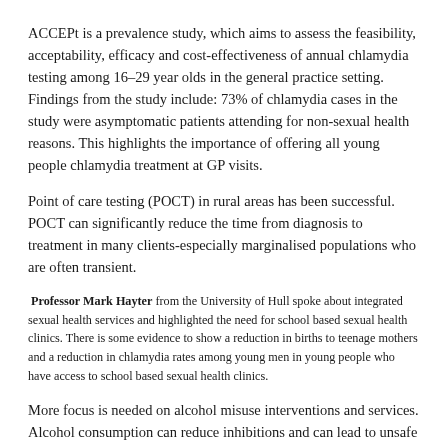ACCEPt is a prevalence study, which aims to assess the feasibility, acceptability, efficacy and cost-effectiveness of annual chlamydia testing among 16–29 year olds in the general practice setting. Findings from the study include: 73% of chlamydia cases in the study were asymptomatic patients attending for non-sexual health reasons. This highlights the importance of offering all young people chlamydia treatment at GP visits.
Point of care testing (POCT) in rural areas has been successful. POCT can significantly reduce the time from diagnosis to treatment in many clients-especially marginalised populations who are often transient.
Professor Mark Hayter from the University of Hull spoke about integrated sexual health services and highlighted the need for school based sexual health clinics. There is some evidence to show a reduction in births to teenage mothers and a reduction in chlamydia rates among young men in young people who have access to school based sexual health clinics.
More focus is needed on alcohol misuse interventions and services. Alcohol consumption can reduce inhibitions and can lead to unsafe sexual practices. Clinicians should include alcohol and drug history as well as the